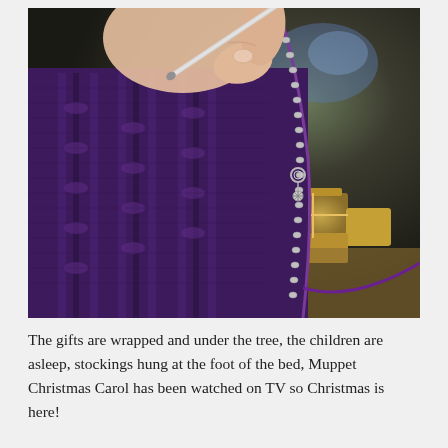[Figure (photo): A close-up photo of hands holding knitting needles working on a deep purple knitted fabric. A decorative stitch marker (small metal charm) is visible on the edge of the knitting. In the blurred background there are wrapped Christmas presents and soft bokeh lights suggesting a festive holiday setting.]
The gifts are wrapped and under the tree, the children are asleep, stockings hung at the foot of the bed, Muppet Christmas Carol has been watched on TV so Christmas is here!